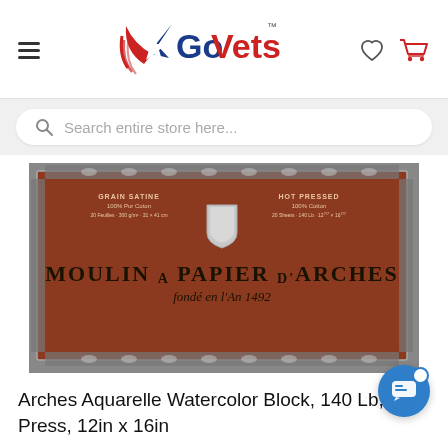[Figure (logo): GoVets logo with star icon in red, white, blue and text GoVets with TM mark]
Search entire store here...
[Figure (photo): Arches Aquarelle Watercolor Block product packaging — a dark red/terracotta colored rectangular block with ornate silver border, shield emblem, and text MOULIN A PAPIER D'ARCHES, fondé en l'An 1492, Grain Satine, 100% Pur Coton, 20 Feuilles, 300 g/m², Hot Pressed, 100% Cotton, 20 Sheets, 140 Lb]
Arches Aquarelle Watercolor Block, 140 Lb, Hot Press, 12in x 16in